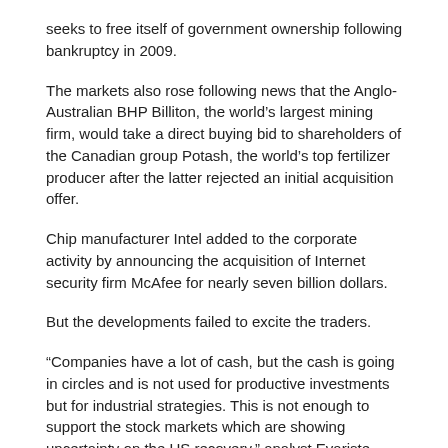seeks to free itself of government ownership following bankruptcy in 2009.
The markets also rose following news that the Anglo-Australian BHP Billiton, the world's largest mining firm, would take a direct buying bid to shareholders of the Canadian group Potash, the world's top fertilizer producer after the latter rejected an initial acquisition offer.
Chip manufacturer Intel added to the corporate activity by announcing the acquisition of Internet security firm McAfee for nearly seven billion dollars.
But the developments failed to excite the traders.
“Companies have a lot of cash, but the cash is going in circles and is not used for productive investments but for industrial strategies. This is not enough to support the stock markets which are showing uncertainty on the US recovery,” analyst Evariste Lefeuvre of Natixis investment house said.
Source: AFP